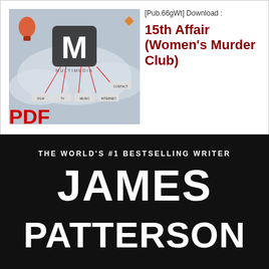[Pub.66gWt] Download :
15th Affair (Women's Murder Club) PDF
[Figure (illustration): Multimedia concept graphic with large M logo and connected icons labeled film, TV, music, internet, contact on a cloudy background]
[Figure (photo): Book cover with black background. Text: THE WORLD'S #1 BESTSELLING WRITER, JAMES PATTERSON]